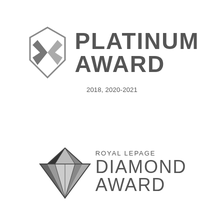[Figure (logo): Royal LePage Platinum Award logo with stylized shield/arrow icon and bold text reading PLATINUM AWARD]
2018, 2020-2021
[Figure (logo): Royal LePage Diamond Award logo with diamond gemstone outline icon and text reading ROYAL LEPAGE DIAMOND AWARD]